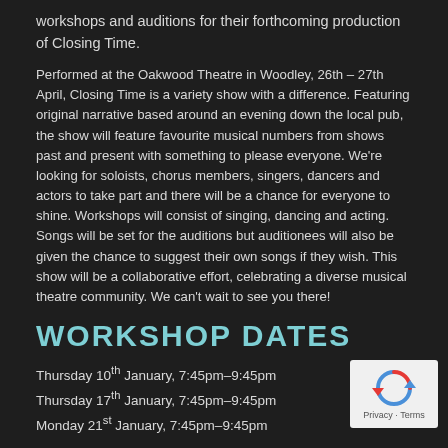workshops and auditions for their forthcoming production of Closing Time.
Performed at the Oakwood Theatre in Woodley, 26th – 27th April, Closing Time is a variety show with a difference. Featuring original narrative based around an evening down the local pub, the show will feature favourite musical numbers from shows past and present with something to please everyone. We're looking for soloists, chorus members, singers, dancers and actors to take part and there will be a chance for everyone to shine. Workshops will consist of singing, dancing and acting. Songs will be set for the auditions but auditionees will also be given the chance to suggest their own songs if they wish. This show will be a collaborative effort, celebrating a diverse musical theatre community. We can't wait to see you there!
WORKSHOP DATES
Thursday 10th January, 7:45pm–9:45pm
Thursday 17th January, 7:45pm–9:45pm
Monday 21st January, 7:45pm–9:45pm